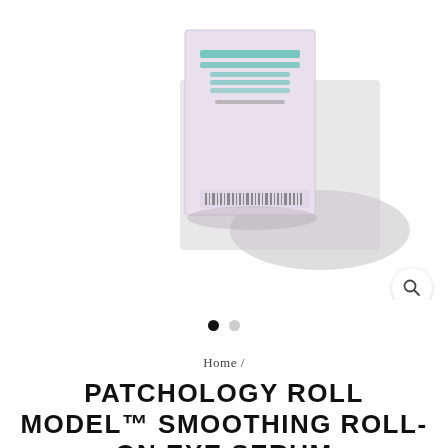[Figure (photo): Product photo showing Patchology Roll Model eye serum box and roller tube on white background]
Home /
PATCHOLOGY ROLL MODEL™ SMOOTHING ROLL-ON EYE SERUM
$ 22.00